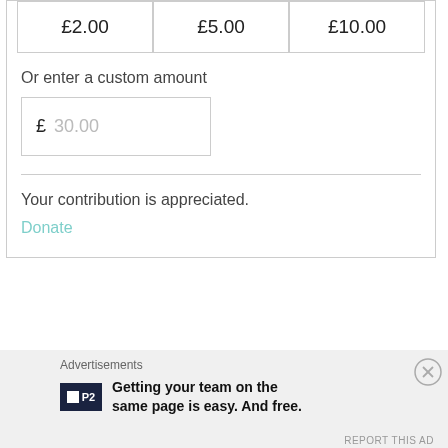£2.00
£5.00
£10.00
Or enter a custom amount
£  30.00
Your contribution is appreciated.
Donate
Advertisements
Getting your team on the same page is easy. And free.